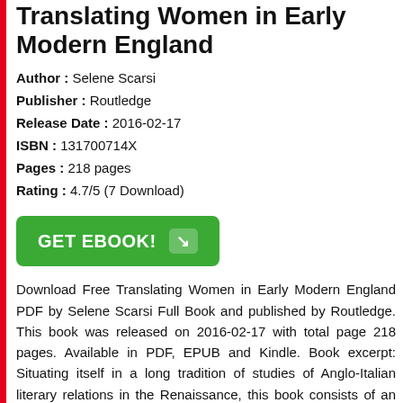Translating Women in Early Modern England
Author : Selene Scarsi
Publisher : Routledge
Release Date : 2016-02-17
ISBN : 131700714X
Pages : 218 pages
Rating : 4.7/5 (7 Download)
[Figure (other): Green GET EBOOK! button with arrow icon]
Download Free Translating Women in Early Modern England PDF by Selene Scarsi Full Book and published by Routledge. This book was released on 2016-02-17 with total page 218 pages. Available in PDF, EPUB and Kindle. Book excerpt: Situating itself in a long tradition of studies of Anglo-Italian literary relations in the Renaissance, this book consists of an analysis of the representation of women in the extant